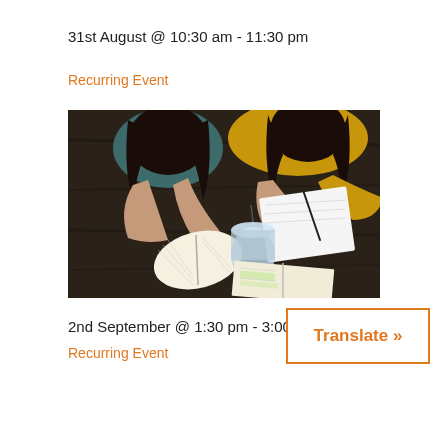31st August @ 10:30 am - 11:30 pm
Recurring Event
[Figure (photo): Overhead view of two young women studying at a dark wooden table, one reading a book and one writing in a notebook, with an iced drink and open textbook visible on the table.]
2nd September @ 1:30 pm - 3:00 pm
Recurring Event
Translate »